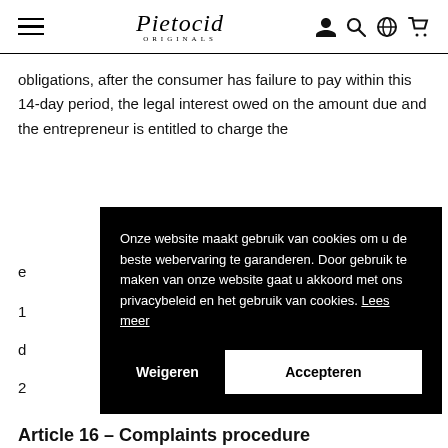Pietocid — navigation header with hamburger menu, logo, and icons
obligations, after the consumer has failure to pay within this 14-day period, the legal interest owed on the amount due and the entrepreneur is entitled to charge the
[Figure (other): Cookie consent overlay in Dutch: 'Onze website maakt gebruik van cookies om u de beste webervaring te garanderen. Door gebruik te maken van onze website gaat u akkoord met ons privacybeleid en het gebruik van cookies. Lees meer' with Weigeren and Accepteren buttons]
Article 16 – Complaints procedure